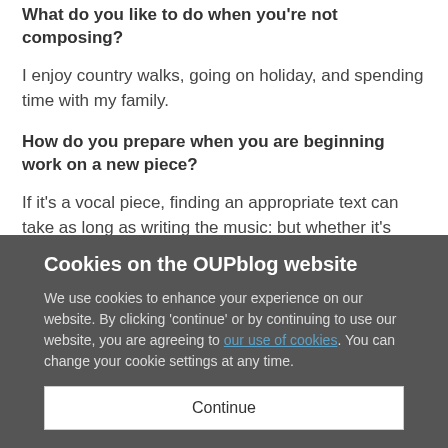What do you like to do when you're not composing?
I enjoy country walks, going on holiday, and spending time with my family.
How do you prepare when you are beginning work on a new piece?
If it's a vocal piece, finding an appropriate text can take as long as writing the music: but whether it's vocal or
Cookies on the OUPblog website
We use cookies to enhance your experience on our website. By clicking 'continue' or by continuing to use our website, you are agreeing to our use of cookies. You can change your cookie settings at any time.
Continue